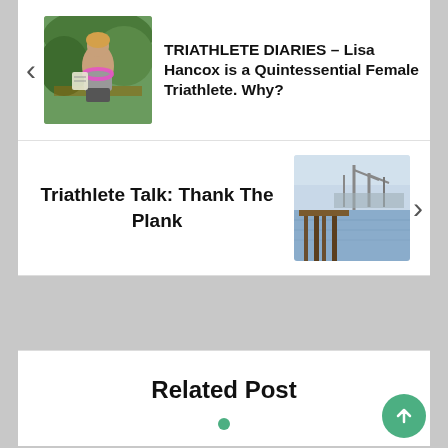[Figure (photo): Photo of a woman holding a certificate with a flower lei, standing outdoors near tropical greenery]
TRIATHLETE DIARIES – Lisa Hancox is a Quintessential Female Triathlete. Why?
Triathlete Talk: Thank The Plank
[Figure (photo): Photo of a dock/pier over water with industrial cranes in the background]
Related Post